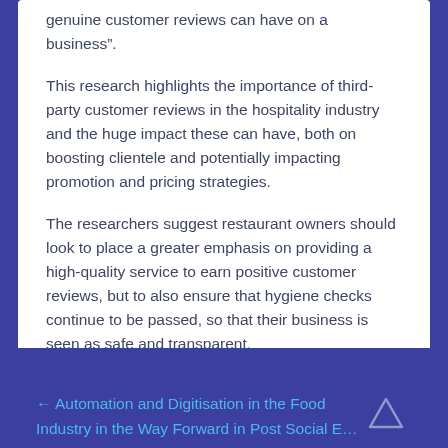genuine customer reviews can have on a business”.
This research highlights the importance of third-party customer reviews in the hospitality industry and the huge impact these can have, both on boosting clientele and potentially impacting promotion and pricing strategies.
The researchers suggest restaurant owners should look to place a greater emphasis on providing a high-quality service to earn positive customer reviews, but to also ensure that hygiene checks continue to be passed, so that their business is seen as safe and transparent.
← Automation and Digitisation in the Food Industry in the Way Forward in Post Social E…